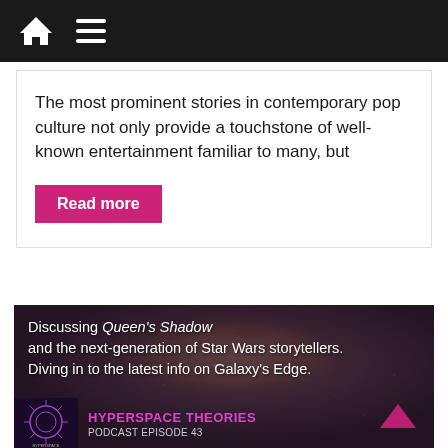Navigation bar with home icon and menu icon
The most prominent stories in contemporary pop culture not only provide a touchstone of well-known entertainment familiar to many, but
Read more
[Figure (photo): Dark moody close-up portrait of a person's face with text overlay: 'Discussing Queen's Shadow and the next-generation of Star Wars storytellers. Diving in to the latest info on Galaxy's Edge.' with Hyperspace Theories podcast branding at bottom.]
HYPERSPACE THEORIES PODCAST EPISODE 43